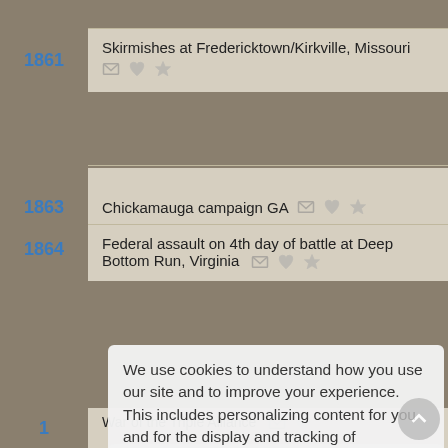1861 — Skirmishes at Fredericktown/Kirkville, Missouri
1863 — Chickamauga campaign GA
1864 — Federal assault on 4th day of battle at Deep Bottom Run, Virginia
We use cookies to understand how you use our site and to improve your experience. This includes personalizing content for you and for the display and tracking of advertising. By continuing to use our site, you accept and agree to our use of cookies. Privacy Policy
Got it!
War of the Triple Alliance